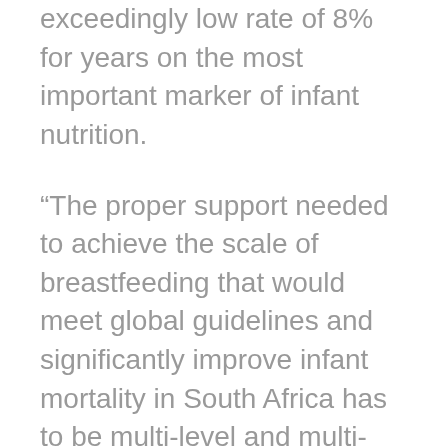exceedingly low rate of 8% for years on the most important marker of infant nutrition.
“The proper support needed to achieve the scale of breastfeeding that would meet global guidelines and significantly improve infant mortality in South Africa has to be multi-level and multi-pronged,” says Thembekile Dlamini, also a Registered Dietitian and ADSA spokesperson. “That is why breastfeeding should rather be viewed as ‘everybody’s business’ versus an activity that a mother feels she needs